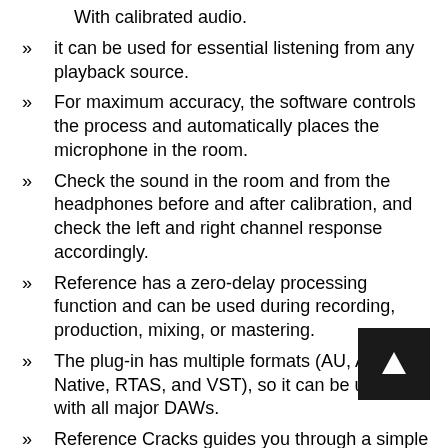With calibrated audio.
it can be used for essential listening from any playback source.
For maximum accuracy, the software controls the process and automatically places the microphone in the room.
Check the sound in the room and from the headphones before and after calibration, and check the left and right channel response accordingly.
Reference has a zero-delay processing function and can be used during recording, production, mixing, or mastering.
The plug-in has multiple formats (AU, AAX Native, RTAS, and VST), so it can be used with all major DAWs.
Reference Cracks guides you through a simple room mapping process and is almost impossible to use yourself, providing the